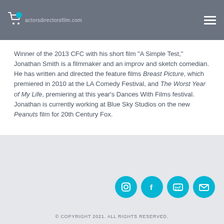actorsdirectorsfilm.com
Winner of the 2013 CFC with his short film "A Simple Test," Jonathan Smith is a filmmaker and an improv and sketch comedian. He has written and directed the feature films Breast Picture, which premiered in 2010 at the LA Comedy Festival, and The Worst Year of My Life, premiering at this year's Dances With Films festival. Jonathan is currently working at Blue Sky Studios on the new Peanuts film for 20th Century Fox.
[Figure (illustration): Social media icons: Instagram, Facebook, YouTube, Email — circular teal buttons]
© COPYRIGHT 2021. ALL RIGHTS RESERVED.